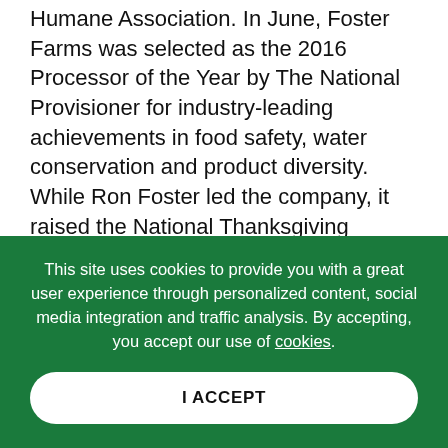Humane Association. In June, Foster Farms was selected as the 2016 Processor of the Year by The National Provisioner for industry-leading achievements in food safety, water conservation and product diversity. While Ron Foster led the company, it raised the National Thanksgiving Turkey for the White House on two occasions, became the No. 1 brand of frozen cooked chicken in the western U.S., and became the largest producer of organic and antibiotic-free fresh chicken on the West Coast.
This site uses cookies to provide you with a great user experience through personalized content, social media integration and traffic analysis. By accepting, you accept our use of cookies.
I ACCEPT